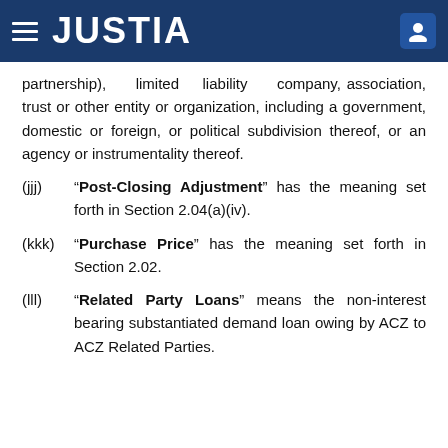JUSTIA
partnership), limited liability company, association, trust or other entity or organization, including a government, domestic or foreign, or political subdivision thereof, or an agency or instrumentality thereof.
(jjj) “Post-Closing Adjustment” has the meaning set forth in Section 2.04(a)(iv).
(kkk)“Purchase Price” has the meaning set forth in Section 2.02.
(lll) “Related Party Loans” means the non-interest bearing substantiated demand loan owing by ACZ to ACZ Related Parties.